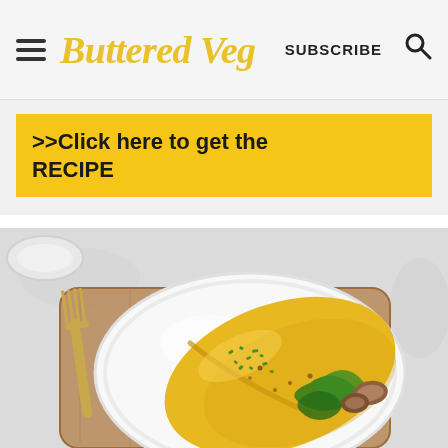Buttered Veg | SUBSCRIBE
>>Click here to get the RECIPE
[Figure (photo): Top-down view of a golden yellow folded omelette on a white plate, filled with spinach and mushrooms, garnished with chopped herbs. A fork is visible to the left on a grey stone surface, with a wooden board underneath the plate.]